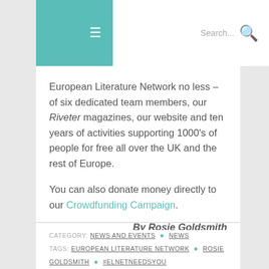≡   Search...  🔍
European Literature Network no less – of six dedicated team members, our Riveter magazines, our website and ten years of activities supporting 1000's of people for free all over the UK and the rest of Europe.
You can also donate money directly to our Crowdfunding Campaign.
By Rosie Goldsmith
CATEGORY: NEWS AND EVENTS · NEWS
TAGS: EUROPEAN LITERATURE NETWORK · ROSIE GOLDSMITH · #ELNETNEEDSYOU